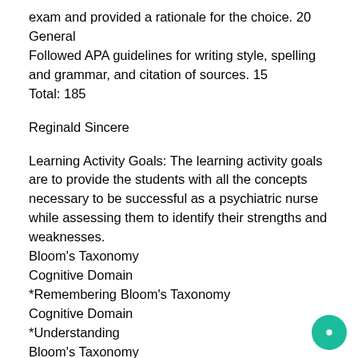exam and provided a rationale for the choice. 20
General
Followed APA guidelines for writing style, spelling and grammar, and citation of sources. 15
Total: 185
Reginald Sincere
Learning Activity Goals: The learning activity goals are to provide the students with all the concepts necessary to be successful as a psychiatric nurse while assessing them to identify their strengths and weaknesses.
Bloom's Taxonomy
Cognitive Domain
*Remembering Bloom's Taxonomy
Cognitive Domain
*Understanding
Bloom's Taxonomy
Cognitive Domain